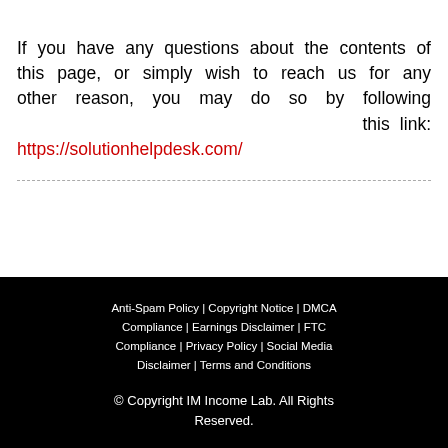If you have any questions about the contents of this page, or simply wish to reach us for any other reason, you may do so by following this link: https://solutionhelpdesk.com/
Anti-Spam Policy | Copyright Notice | DMCA Compliance | Earnings Disclaimer | FTC Compliance | Privacy Policy | Social Media Disclaimer | Terms and Conditions
© Copyright IM Income Lab. All Rights Reserved.